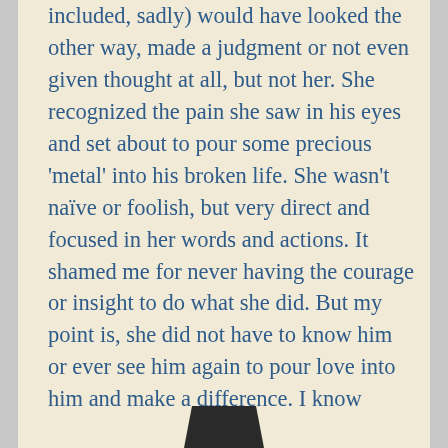included, sadly) would have looked the other way, made a judgment or not even given thought at all, but not her. She recognized the pain she saw in his eyes and set about to pour some precious 'metal' into his broken life. She wasn't naïve or foolish, but very direct and focused in her words and actions. It shamed me for never having the courage or insight to do what she did. But my point is, she did not have to know him or ever see him again to pour love into him and make a difference. I know beyond all certainty that she impacted his life in far-reaching and marvelous ways. She created a Kintsugi moment for this young man.